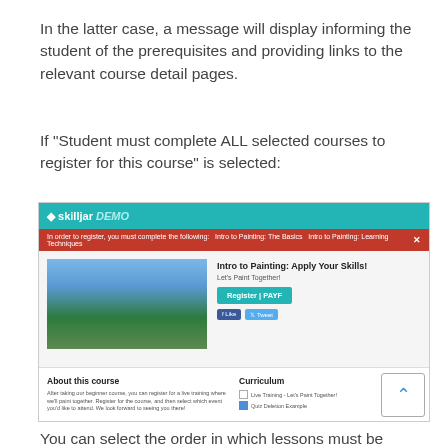In the latter case, a message will display informing the student of the prerequisites and providing links to the relevant course detail pages.
If "Student must complete ALL selected courses to register for this course" is selected:
[Figure (screenshot): Screenshot of a Skilljar course detail page showing a red error banner, a course image of mountain landscape, course title 'Intro to Painting: Apply Your Skills!', subtitle 'Let's Paint Together!', a teal Register/PAYF button, Facebook Like and Tweet buttons, About this course section, and Curriculum section with checkboxes.]
You can select the order in which lessons must be